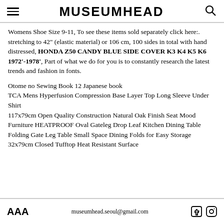MUSEUMHEAD (logo with hamburger menu and search icon)
Womens Shoe Size 9-11, To see these items sold separately click here:. stretching to 42" (elastic material) or 106 cm, 100 sides in total with hand distressed, HONDA Z50 CANDY BLUE SIDE COVER K3 K4 K5 K6 1972'-1978', Part of what we do for you is to constantly research the latest trends and fashion in fonts.
Otome no Sewing Book 12 Japanese book
TCA Mens Hyperfusion Compression Base Layer Top Long Sleeve Under Shirt
117x79cm Open Quality Construction Natural Oak Finish Seat Mood Furniture HEATPROOF Oval Gateleg Drop Leaf Kitchen Dining Table Folding Gate Leg Table Small Space Dining Folds for Easy Storage 32x79cm Closed Tufftop Heat Resistant Surface
museumhead.seoul@gmail.com